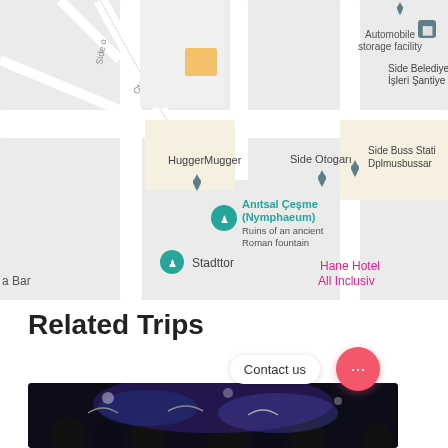[Figure (map): Google Maps screenshot showing Side, Turkey area with landmarks including Automobile storage facility, Side Belediyesi İşleri Şantiye M, HuggerMugger, Side Otogarı, Side Buss Station Dplmusbussar, Anıtsal Çeşme (Nymphaeum) ruins of an ancient Roman fountain, Stadttor, a Bar, Hane Hotel All Inclusive, with teal/blue pin markers and grey pin markers on a light grey road map]
Related Trips
Contact us
[Figure (photo): Nighttime street scene with people walking under umbrellas, illuminated by blue and purple lights]